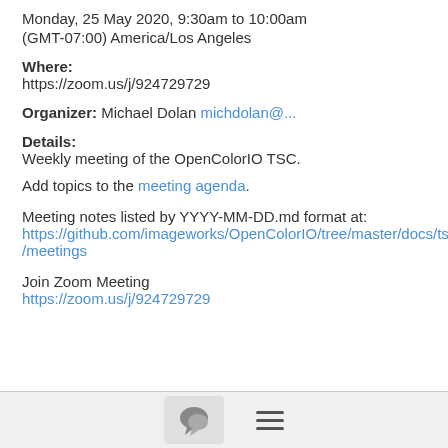Monday, 25 May 2020, 9:30am to 10:00am
(GMT-07:00) America/Los Angeles
Where:
https://zoom.us/j/924729729
Organizer: Michael Dolan michdolan@...
Details:
Weekly meeting of the OpenColorIO TSC.

Add topics to the meeting agenda.
Meeting notes listed by YYYY-MM-DD.md format at:
https://github.com/imageworks/OpenColorIO/tree/master/docs/tsc/meetings
Join Zoom Meeting
https://zoom.us/j/924729729
[Figure (other): Bottom toolbar with chat bubble icon button and hamburger menu icon]